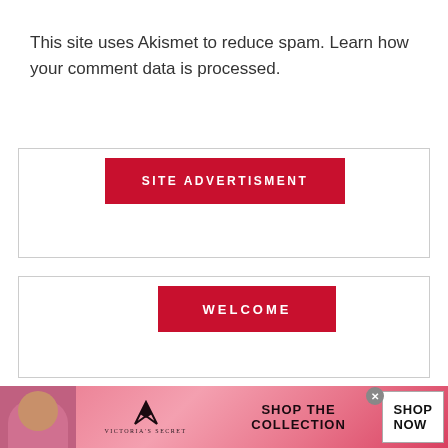This site uses Akismet to reduce spam. Learn how your comment data is processed.
[Figure (infographic): Red button banner labeled SITE ADVERTISMENT inside a bordered box]
[Figure (infographic): Red button labeled WELCOME inside a bordered box]
[Figure (infographic): Victoria's Secret advertisement banner with model photo, VS logo, SHOP THE COLLECTION text, and SHOP NOW button]